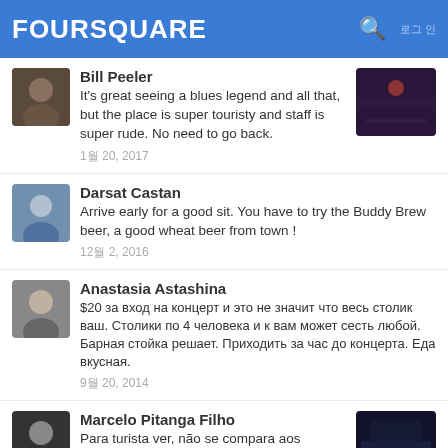FOURSQUARE
Bill Peeler
It's great seeing a blues legend and all that, but the place is super touristy and staff is super rude. No need to go back.
1월 20, 2017
Darsat Castan
Arrive early for a good sit. You have to try the Buddy Brew beer, a good wheat beer from town !
12월 2, 2016
Anastasia Astashina
$20 за вход на концерт и это не значит что весь столик ваш. Столики по 4 человека и к вам может сесть любой. Барная стойка решает. Приходить за час до концерта. Еда вкусная.
9월 20, 2014
Marcelo Pitanga Filho
Para turista ver, não se compara aos autênticos
7월 1, 2015